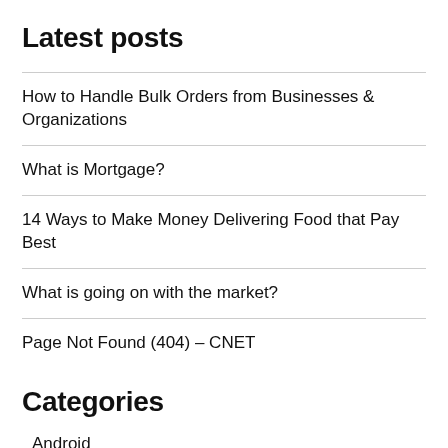Latest posts
How to Handle Bulk Orders from Businesses & Organizations
What is Mortgage?
14 Ways to Make Money Delivering Food that Pay Best
What is going on with the market?
Page Not Found (404) – CNET
Categories
Android